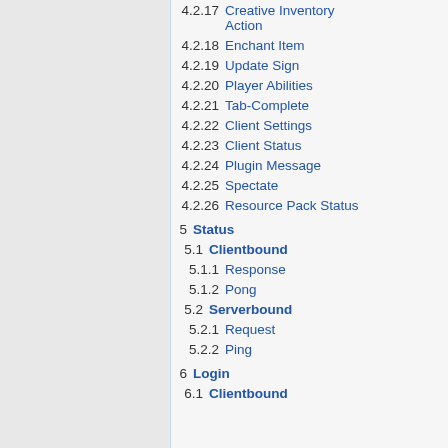4.2.17  Creative Inventory Action
4.2.18  Enchant Item
4.2.19  Update Sign
4.2.20  Player Abilities
4.2.21  Tab-Complete
4.2.22  Client Settings
4.2.23  Client Status
4.2.24  Plugin Message
4.2.25  Spectate
4.2.26  Resource Pack Status
5  Status
5.1  Clientbound
5.1.1  Response
5.1.2  Pong
5.2  Serverbound
5.2.1  Request
5.2.2  Ping
6  Login
6.1  Clientbound